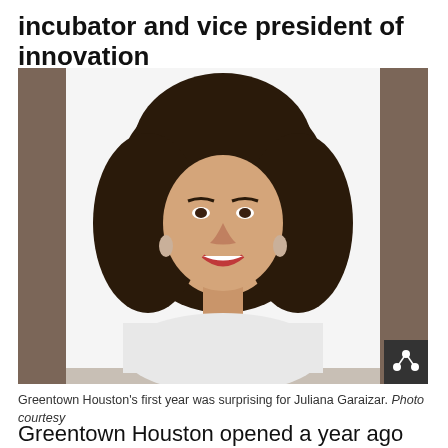incubator and vice president of innovation
[Figure (photo): Portrait photo of Juliana Garaizar, a woman with curly dark hair wearing a white top, smiling, against a white background]
Greentown Houston's first year was surprising for Juliana Garaizar. Photo courtesy
Greentown Houston opened a year ago and, in just